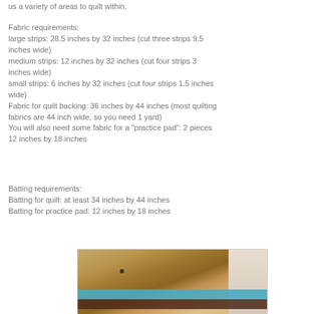us a variety of areas to quilt within.
Fabric requirements:
large strips: 28.5 inches by 32 inches (cut three strips 9.5 inches wide)
medium strips: 12 inches by 32 inches (cut four strips 3 inches wide)
small strips: 6 inches by 32 inches (cut four strips 1.5 inches wide)
Fabric for quilt backing: 36 inches by 44 inches (most quilting fabrics are 44 inch wide, so you need 1 yard)
You will also need some fabric for a "practice pad": 2 pieces 12 inches by 18 inches
Batting requirements:
Batting for quilt: at least 34 inches by 44 inches
Batting for practice pad: 12 inches by 18 inches
[Figure (photo): Photo of quilting fabric strips on a wooden floor — a teal/turquoise strip and a dark brown strip visible on hardwood, with a white baseboard in the background.]